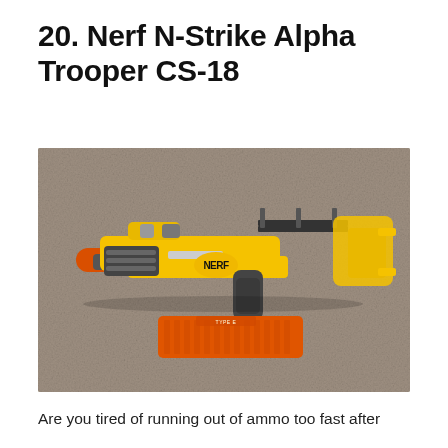20. Nerf N-Strike Alpha Trooper CS-18
[Figure (photo): A yellow and black Nerf N-Strike Alpha Trooper CS-18 blaster lying on a concrete/stone surface. The gun is yellow with black accents and has an orange dart clip magazine lying below it. The blaster features a stock, tactical rail, and slide-action pump.]
Are you tired of running out of ammo too fast after